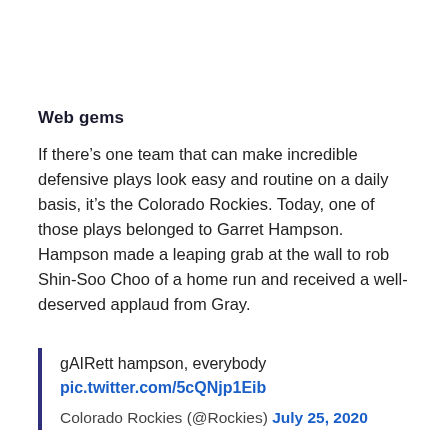Web gems
If there’s one team that can make incredible defensive plays look easy and routine on a daily basis, it’s the Colorado Rockies. Today, one of those plays belonged to Garret Hampson. Hampson made a leaping grab at the wall to rob Shin-Soo Choo of a home run and received a well-deserved applaud from Gray.
gAIRett hampson, everybody
pic.twitter.com/5cQNjp1Eib

Colorado Rockies (@Rockies) July 25, 2020